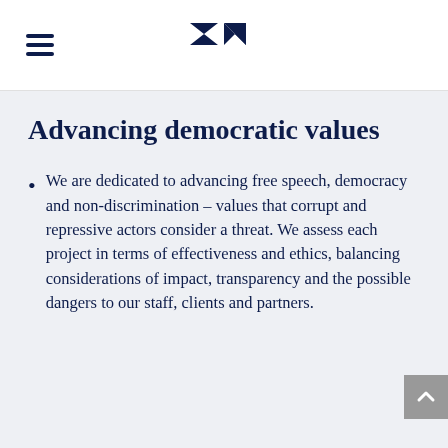Advancing democratic values
We are dedicated to advancing free speech, democracy and non-discrimination – values that corrupt and repressive actors consider a threat. We assess each project in terms of effectiveness and ethics, balancing considerations of impact, transparency and the possible dangers to our staff, clients and partners.